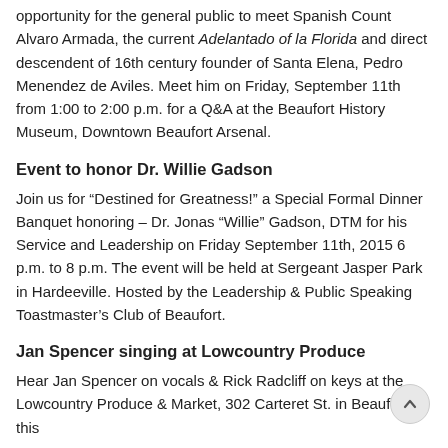opportunity for the general public to meet Spanish Count Alvaro Armada, the current Adelantado of la Florida and direct descendent of 16th century founder of Santa Elena, Pedro Menendez de Aviles. Meet him on Friday, September 11th from 1:00 to 2:00 p.m. for a Q&A at the Beaufort History Museum, Downtown Beaufort Arsenal.
Event to honor Dr. Willie Gadson
Join us for “Destined for Greatness!” a Special Formal Dinner Banquet honoring – Dr. Jonas “Willie” Gadson, DTM for his Service and Leadership on Friday September 11th, 2015 6 p.m. to 8 p.m. The event will be held at Sergeant Jasper Park in Hardeeville. Hosted by the Leadership & Public Speaking Toastmaster’s Club of Beaufort.
Jan Spencer singing at Lowcountry Produce
Hear Jan Spencer on vocals & Rick Radcliff on keys at the Lowcountry Produce & Market, 302 Carteret St. in Beaufort this